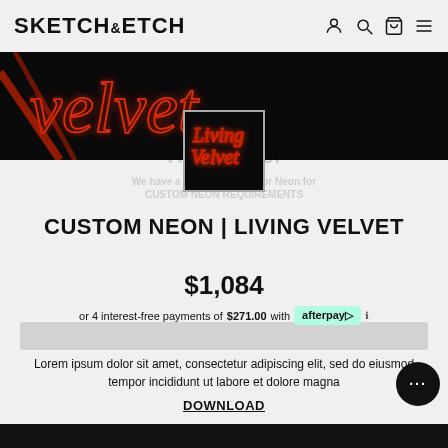SKETCH&ETCH
[Figure (photo): Hero banner showing neon red cursive lettering on black background, partial text visible]
[Figure (photo): Thumbnail of Living Velvet neon sign product — cursive red neon text reading 'Living Velvet' on black background]
CUSTOM NEON | LIVING VELVET
$1,084
or 4 interest-free payments of $271.00 with afterpay
Lorem ipsum dolor sit amet, consectetur adipiscing elit, sed do eiusmod tempor incididunt ut labore et dolore magna
DOWNLOAD